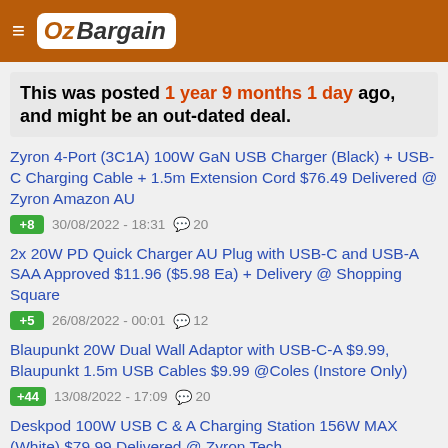OzBargain
This was posted 1 year 9 months 1 day ago, and might be an out-dated deal.
Zyron 4-Port (3C1A) 100W GaN USB Charger (Black) + USB-C Charging Cable + 1.5m Extension Cord $76.49 Delivered @ Zyron Amazon AU | +8 | 30/08/2022 - 18:31 | 20 comments
2x 20W PD Quick Charger AU Plug with USB-C and USB-A SAA Approved $11.96 ($5.98 Ea) + Delivery @ Shopping Square | +5 | 26/08/2022 - 00:01 | 12 comments
Blaupunkt 20W Dual Wall Adaptor with USB-C-A $9.99, Blaupunkt 1.5m USB Cables $9.99 @Coles (Instore Only) | +44 | 13/08/2022 - 17:09 | 20 comments
Deskpod 100W USB C & A Charging Station 156W MAX (White) $79.99 Delivered @ Zyron Tech | +9 | 05/08/2022 - 10:0...